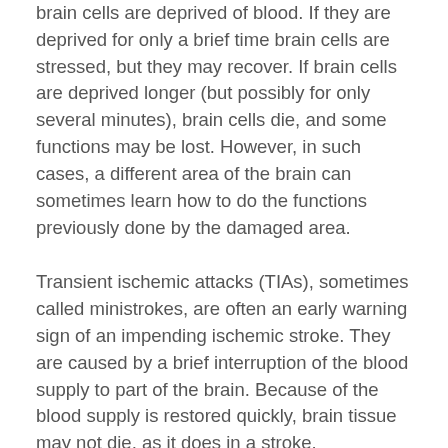brain cells are deprived of blood. If they are deprived for only a brief time brain cells are stressed, but they may recover. If brain cells are deprived longer (but possibly for only several minutes), brain cells die, and some functions may be lost. However, in such cases, a different area of the brain can sometimes learn how to do the functions previously done by the damaged area.
Transient ischemic attacks (TIAs), sometimes called ministrokes, are often an early warning sign of an impending ischemic stroke. They are caused by a brief interruption of the blood supply to part of the brain. Because of the blood supply is restored quickly, brain tissue may not die, as it does in a stroke.
The other 20% of strokes are hemorrhagic – due to bleeding in or around the brain. In this type of stroke, a blood vessel ruptures, interfering with normal blood flow